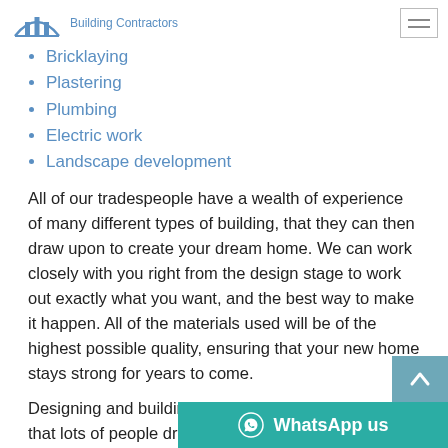[Figure (logo): Building Contractors logo with blue building icon and text 'Building Contractors']
Bricklaying
Plastering
Plumbing
Electric work
Landscape development
All of our tradespeople have a wealth of experience of many different types of building, that they can then draw upon to create your dream home. We can work closely with you right from the design stage to work out exactly what you want, and the best way to make it happen. All of the materials used will be of the highest possible quality, ensuring that your new home stays strong for years to come.
Designing and building your own home is something that lots of people dream of doing, bu... achieve. With our help and support you can do just that,